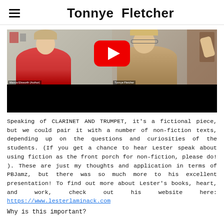Tonnye Fletcher
[Figure (screenshot): Embedded YouTube video thumbnail showing two people in a video call — a woman in a red top on the left (Marcia Elsworth/Author) and a woman on the right (Tonnye Fletcher). A red YouTube play button is centered over the image. The bottom portion of the video player is black.]
Speaking of CLARINET AND TRUMPET, it's a fictional piece, but we could pair it with a number of non-fiction texts, depending up on the questions and curiosities of the students. (If you get a chance to hear Lester speak about using fiction as the front porch for non-fiction, please do! ). These are just my thoughts and application in terms of PBJamz, but there was so much more to his excellent presentation! To find out more about Lester's books, heart, and work, check out his website here: https://www.lesterlaminack.com
Why is this important?